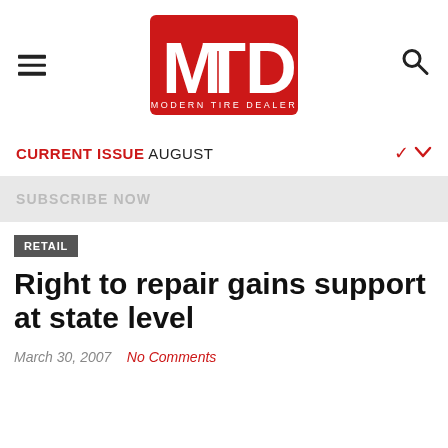[Figure (logo): MTD Modern Tire Dealer logo — red background with white bold lettering 'MTD' and subtitle 'MODERN TIRE DEALER']
CURRENT ISSUE AUGUST
SUBSCRIBE NOW
RETAIL
Right to repair gains support at state level
March 30, 2007   No Comments